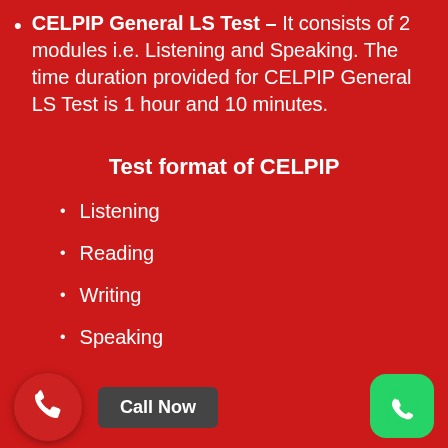CELPIP General LS Test – It consists of 2 modules i.e. Listening and Speaking. The time duration provided for CELPIP General LS Test is 1 hour and 10 minutes.
Test format of CELPIP
Listening
Reading
Writing
Speaking